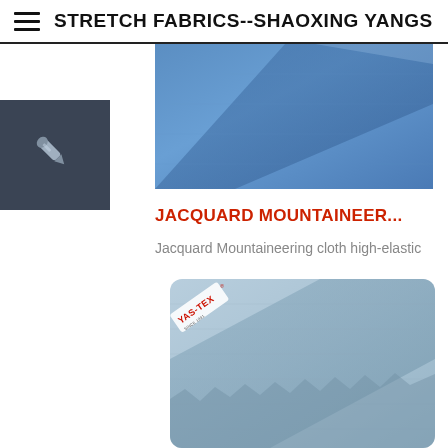STRETCH FABRICS--SHAOXING YANGSHI TEXTI
[Figure (photo): Blue stretch fabric folded, showing smooth surface texture]
[Figure (logo): Eyedropper/pencil tool icon on dark gray background]
JACQUARD MOUNTAINEER...
Jacquard Mountaineering cloth high-elastic
[Figure (photo): Light blue jacquard mountaineering fabric folded with YAS-TEX brand logo visible in top left corner]